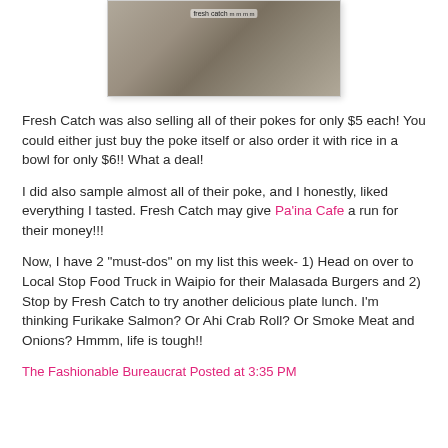[Figure (photo): A photo showing a fish market or food stall display with a 'fresh catch' sign and various items on shelves]
Fresh Catch was also selling all of their pokes for only $5 each! You could either just buy the poke itself or also order it with rice in a bowl for only $6!! What a deal!
I did also sample almost all of their poke, and I honestly, liked everything I tasted. Fresh Catch may give Pa'ina Cafe a run for their money!!!
Now, I have 2 "must-dos" on my list this week- 1) Head on over to Local Stop Food Truck in Waipio for their Malasada Burgers and 2) Stop by Fresh Catch to try another delicious plate lunch. I'm thinking Furikake Salmon? Or Ahi Crab Roll? Or Smoke Meat and Onions? Hmmm, life is tough!!
The Fashionable Bureaucrat Posted at 3:35 PM